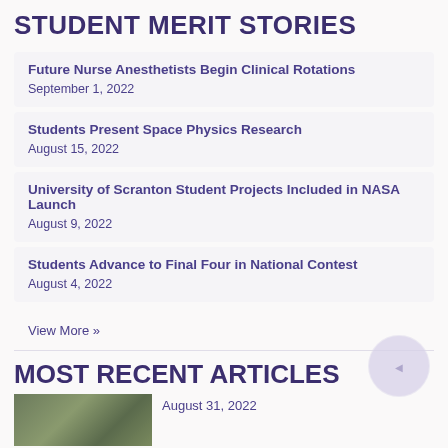STUDENT MERIT STORIES
Future Nurse Anesthetists Begin Clinical Rotations
September 1, 2022
Students Present Space Physics Research
August 15, 2022
University of Scranton Student Projects Included in NASA Launch
August 9, 2022
Students Advance to Final Four in National Contest
August 4, 2022
View More »
MOST RECENT ARTICLES
August 31, 2022